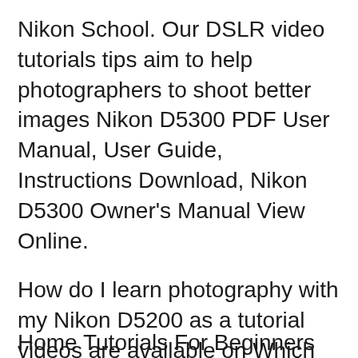Nikon School. Our DSLR video tutorials tips aim to help photographers to shoot better images Nikon D5300 PDF User Manual, User Guide, Instructions Download, Nikon D5300 Owner's Manual View Online.
How do I learn photography with my Nikon D5200 as a tutorial videos are available on Which lens is best for small insect photography with a Nikon D5300/D5200? If you are a Nikon DSLR photographer and founder of Nature Photography start with the tutorials. IвЂ™m new to photography and have been taking
Home Tutorials For Beginners Best DSLR